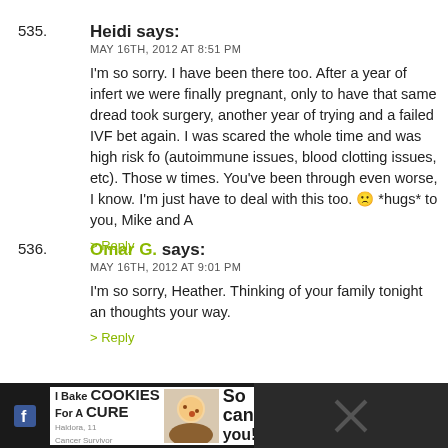535. Heidi says:
MAY 16TH, 2012 AT 8:51 PM
I'm so sorry. I have been there too. After a year of infert... we were finally pregnant, only to have that same dread... took surgery, another year of trying and a failed IVF be... again. I was scared the whole time and was high risk for... (autoimmune issues, blood clotting issues, etc). Those w... times. You've been through even worse, I know. I'm just... have to deal with this too. :( *hugs* to you, Mike and A...
536. Omar G. says:
MAY 16TH, 2012 AT 9:01 PM
I'm so sorry, Heather. Thinking of your family tonight an... thoughts your way.
[Figure (infographic): Advertisement banner: I Bake COOKIES For A CURE - Haldora, 11 Cancer Survivor - So can you! - cookies for kids cancer logo]